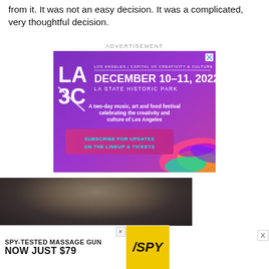from it. It was not an easy decision. It was a complicated, very thoughtful decision.
ADVERTISEMENT
[Figure (illustration): LA3C festival advertisement banner. Purple/magenta gradient background. Logo: LA over 3C in large white letters. Text: LOS ANGELES | CAPITAL OF CREATIVITY & CULTURE, DECEMBER 10-11, 2022, LA STATE HISTORIC PARK. Subtext: A two-day music, art and food festival celebrating the creativity and culture of Los Angeles. Pink button: SUBSCRIBE FOR UPDATES ON THE LINEUP & TICKETS. Colorful brush strokes in bottom right.]
[Figure (photo): Partial photo of a person's head/hair from behind against a dark background.]
[Figure (illustration): SPY-TESTED MASSAGE GUN advertisement banner. White background with text: SPY-TESTED MASSAGE GUN, NOW JUST $79. Yellow SPY logo on right side.]